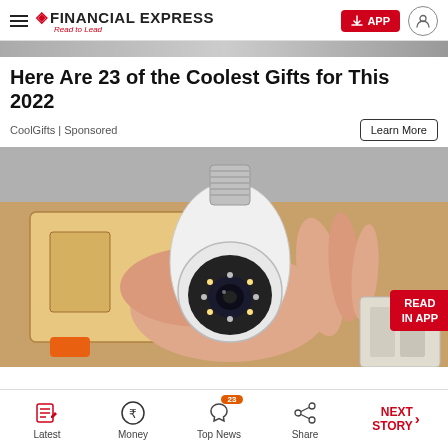Financial Express – Read to Lead
Here Are 23 of the Coolest Gifts for This 2022
CoolGifts | Sponsored
[Figure (photo): A hand holding a white bulb-shaped security camera with LED ring, in front of cardboard boxes.]
Latest | Money | Top News (23) | Share | NEXT STORY